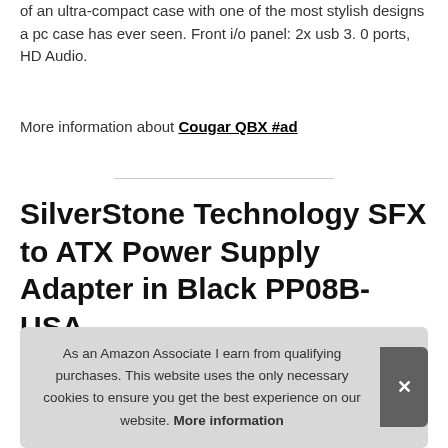of an ultra-compact case with one of the most stylish designs a pc case has ever seen. Front i/o panel: 2x usb 3. 0 ports, HD Audio.
More information about Cougar QBX #ad
SilverStone Technology SFX to ATX Power Supply Adapter in Black PP08B-USA
As an Amazon Associate I earn from qualifying purchases. This website uses the only necessary cookies to ensure you get the best experience on our website. More information